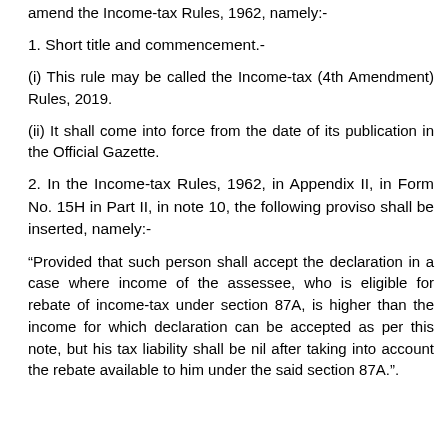amend the Income-tax Rules, 1962, namely:-
1. Short title and commencement.-
(i) This rule may be called the Income-tax (4th Amendment) Rules, 2019.
(ii) It shall come into force from the date of its publication in the Official Gazette.
2. In the Income-tax Rules, 1962, in Appendix II, in Form No. 15H in Part II, in note 10, the following proviso shall be inserted, namely:-
“Provided that such person shall accept the declaration in a case where income of the assessee, who is eligible for rebate of income-tax under section 87A, is higher than the income for which declaration can be accepted as per this note, but his tax liability shall be nil after taking into account the rebate available to him under the said section 87A.".